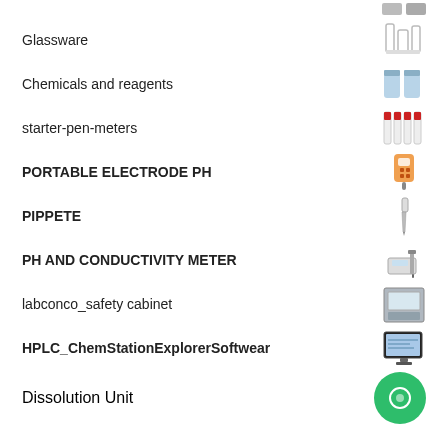Glassware
Chemicals and reagents
starter-pen-meters
PORTABLE ELECTRODE PH
PIPPETE
PH AND CONDUCTIVITY METER
labconco_safety cabinet
HPLC_ChemStationExplorerSoftwear
Dissolution Unit